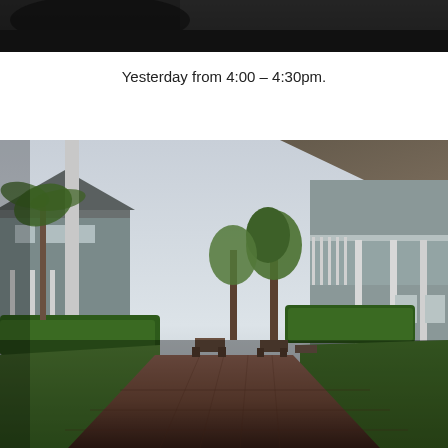[Figure (photo): Partial top portion of a photograph showing a dark scene, likely a car or shadowed area.]
Yesterday from 4:00 – 4:30pm.
[Figure (photo): Outdoor courtyard of a residential or school campus with a brick paver pathway, green lawn, hedges, palm trees, and two-story buildings with covered porches on both sides. A large shade sail is visible at the top. Picnic tables are visible in the middle distance.]